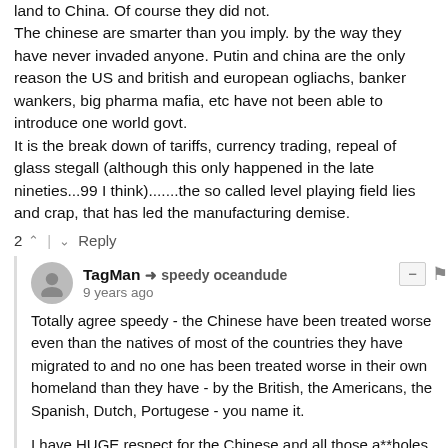land to China. Of course they did not. The chinese are smarter than you imply. by the way they have never invaded anyone. Putin and china are the only reason the US and british and european ogliachs, banker wankers, big pharma mafia, etc have not been able to introduce one world govt. It is the break down of tariffs, currency trading, repeal of glass stegall (although this only happened in the late nineties...99 I think).......the so called level playing field lies and crap, that has led the manufacturing demise.
2 ^ | v Reply
TagMan → speedy oceandude 9 years ago
Totally agree speedy - the Chinese have been treated worse even than the natives of most of the countries they have migrated to and no one has been treated worse in their own homeland than they have - by the British, the Americans, the Spanish, Dutch, Portugese - you name it.
I have HUGE respect for the Chinese and all those a**holes who have abused them better take some hard looks at themselves because China will be the next superpower...